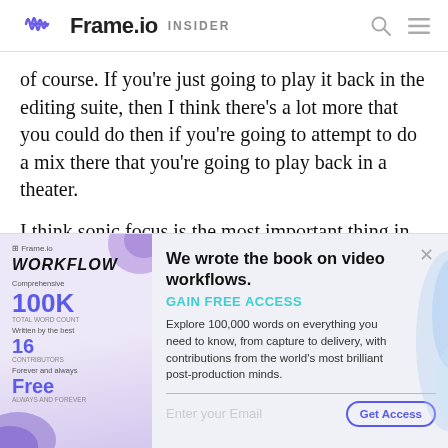Frame.io INSIDER
of course. If you're just going to play it back in the editing suite, then I think there's a lot more that you could do then if you're going to attempt to do a mix there that you're going to play back in a theater.
I think sonic focus is the most important thing in any mix.
[Figure (screenshot): Frame.io Workflow book promotional popup with email signup form. Shows book cover with WORKFLOW title, 100K words, 16 authors, Free price. Text: We wrote the book on video workflows. GAIN FREE ACCESS. Explore 100,000 words on everything you need to know, from capture to delivery, with contributions from the world's most brilliant post-production minds.]